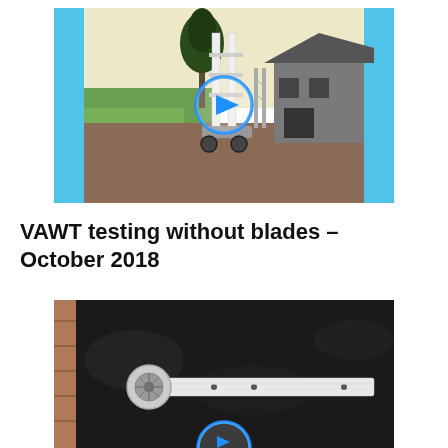[Figure (photo): Video thumbnail showing a VAWT (Vertical Axis Wind Turbine) without blades on a driveway in front of a rural house, with a blue play button overlay. Blue decorative bars on left and right sides.]
VAWT testing without blades – October 2018
[Figure (photo): Video thumbnail showing a white blade component with a pulley/wheel on a dark surface, with a blue play button overlay partially visible at the bottom.]